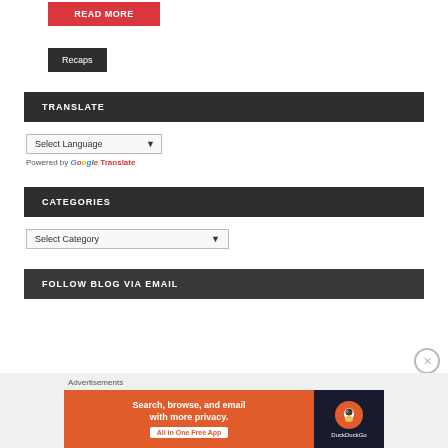[Figure (screenshot): Red READ MORE button]
Recaps
TRANSLATE
Select Language
Powered by Google Translate
CATEGORIES
Select Category
FOLLOW BLOG VIA EMAIL
Advertisements
[Figure (screenshot): DuckDuckGo advertisement: Search, browse, and email with more privacy. All in One Free App]